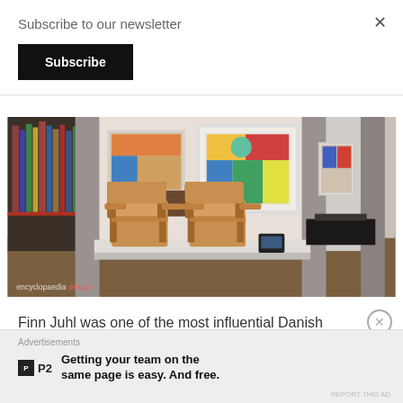Subscribe to our newsletter
Subscribe
[Figure (photo): Museum interior showing Finn Juhl chairs on a white platform display, with large concrete columns, art on walls, and exhibition pieces on dark tables in the background. Watermark reads 'encyclopaedia design' in red.]
Finn Juhl was one of the most influential Danish designers
Advertisements
Getting your team on the same page is easy. And free.